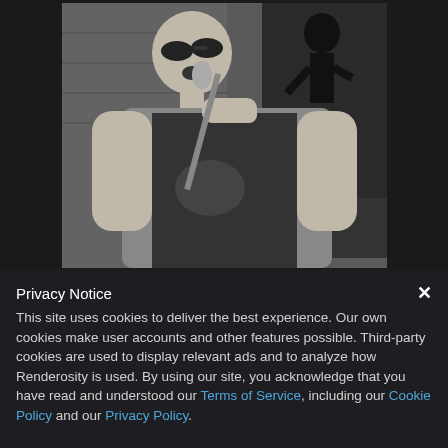[Figure (photo): Black and white photo of a muscular man wearing sunglasses and a tank top, singing into a microphone, with a brick wall and a partial sign reading 'A D'O ALE' in the background.]
Privacy Notice
This site uses cookies to deliver the best experience. Our own cookies make user accounts and other features possible. Third-party cookies are used to display relevant ads and to analyze how Renderosity is used. By using our site, you acknowledge that you have read and understood our Terms of Service, including our Cookie Policy and our Privacy Policy.